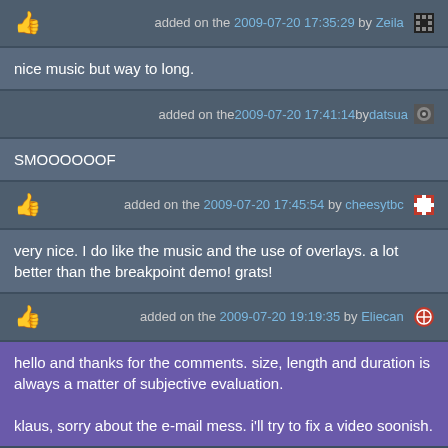added on the 2009-07-20 17:35:29 by Zeila
nice music but way to long.
added on the 2009-07-20 17:41:14 by datsua
SMOOOOOOF
added on the 2009-07-20 17:45:54 by cheesytbc
very nice. I do like the music and the use of overlays. a lot better than the breakpoint demo! grats!
added on the 2009-07-20 19:19:35 by Eliecan
hello and thanks for the comments. size, length and duration is always a matter of subjective evaluation.

klaus, sorry about the e-mail mess. i'll try to fix a video soonish.
added on the 2009-07-20 20:34:36 by rasmus/loonies
Very pretty and atmospheric.
added on the 2009-07-20 20:38:30 by Alpha C